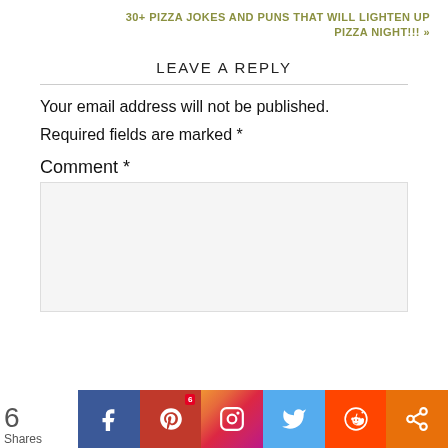30+ PIZZA JOKES AND PUNS THAT WILL LIGHTEN UP PIZZA NIGHT!!! »
LEAVE A REPLY
Your email address will not be published.
Required fields are marked *
Comment *
6 Shares